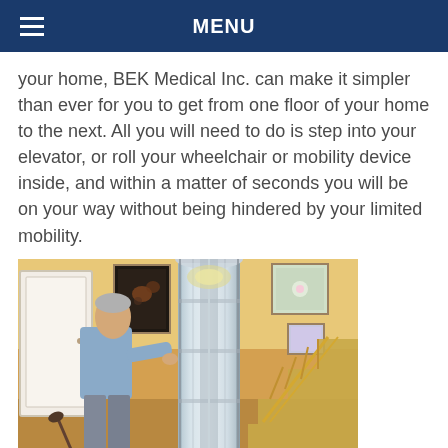MENU
your home, BEK Medical Inc. can make it simpler than ever for you to get from one floor of your home to the next. All you will need to do is step into your elevator, or roll your wheelchair or mobility device inside, and within a matter of seconds you will be on your way without being hindered by your limited mobility.
[Figure (photo): A man standing next to a cylindrical home elevator in a warmly decorated home interior with staircase, framed paintings on the wall, and wood-toned decor.]